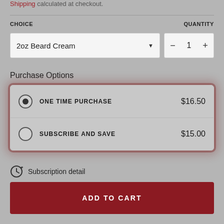Shipping calculated at checkout.
CHOICE
QUANTITY
2oz Beard Cream
1
Purchase Options
ONE TIME PURCHASE  $16.50
SUBSCRIBE AND SAVE  $15.00
Subscription detail
ADD TO CART